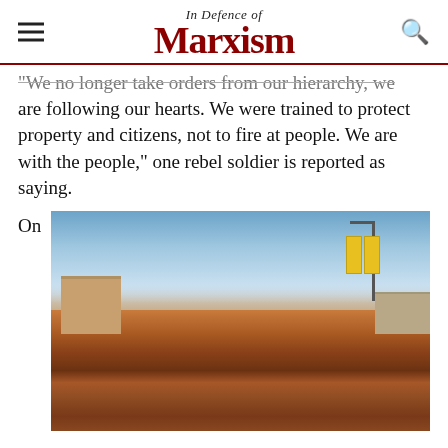In Defence of Marxism
"We no longer take orders from our hierarchy, we are following our hearts. We were trained to protect property and citizens, not to fire at people. We are with the people," one rebel soldier is reported as saying.
On
[Figure (photo): Large crowd of protesters gathered in a city square, with buildings and street lamps visible in the background under a partly cloudy sky.]